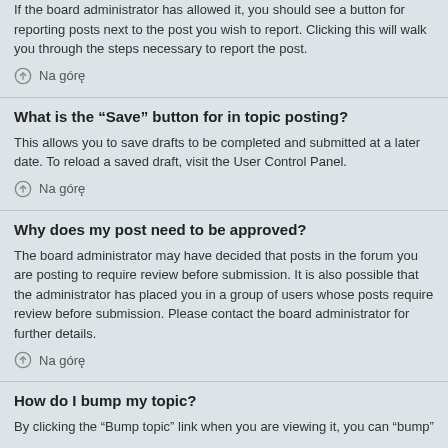If the board administrator has allowed it, you should see a button for reporting posts next to the post you wish to report. Clicking this will walk you through the steps necessary to report the post.
Na górę
What is the “Save” button for in topic posting?
This allows you to save drafts to be completed and submitted at a later date. To reload a saved draft, visit the User Control Panel.
Na górę
Why does my post need to be approved?
The board administrator may have decided that posts in the forum you are posting to require review before submission. It is also possible that the administrator has placed you in a group of users whose posts require review before submission. Please contact the board administrator for further details.
Na górę
How do I bump my topic?
By clicking the “Bump topic” link when you are viewing it, you can “bump”